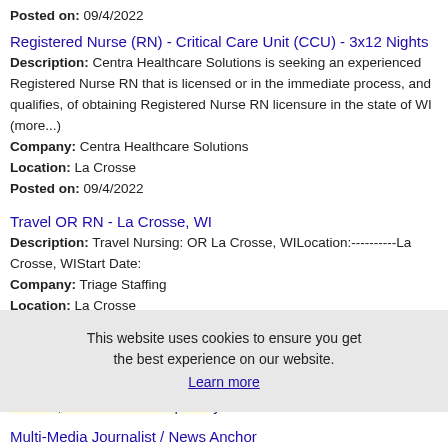Posted on: 09/4/2022
Registered Nurse (RN) - Critical Care Unit (CCU) - 3x12 Nights
Description: Centra Healthcare Solutions is seeking an experienced Registered Nurse RN that is licensed or in the immediate process, and qualifies, of obtaining Registered Nurse RN licensure in the state of WI (more...)
Company: Centra Healthcare Solutions
Location: La Crosse
Posted on: 09/4/2022
Travel OR RN - La Crosse, WI
Description: Travel Nursing: OR La Crosse, WILocation:----------La Crosse, WIStart Date:
Company: Triage Staffing
Location: La Crosse
Posted on: 09/4/2022
This website uses cookies to ensure you get the best experience on our website. Learn more
Salary in La Crosse, Wisconsin Area | More details for La Crosse, Wisconsin Jobs |Salary
Multi-Media Journalist / News Anchor